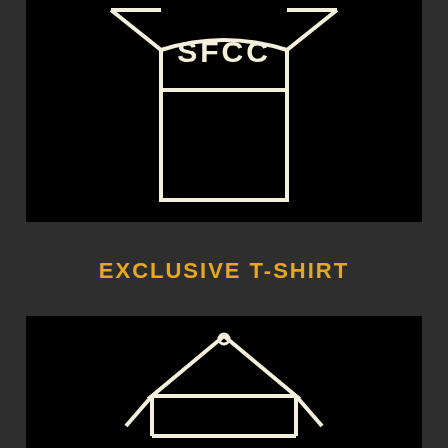[Figure (illustration): Black background with a cream/off-white outline illustration of a T-shirt with 'SFCC' text on it]
EXCLUSIVE T-SHIRT
[Figure (illustration): Black background with a cream/off-white outline illustration of an open envelope or frame icon with a triangle/pendant at the top]